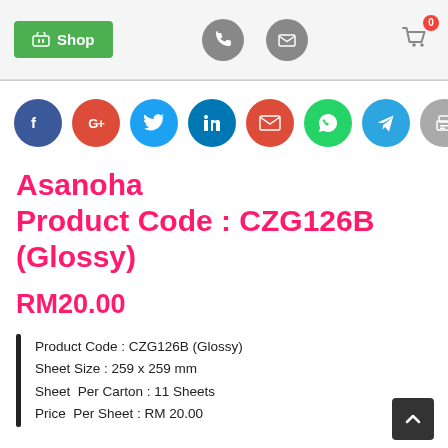Shop | [phone icon] | [mail icon] | [cart icon] 0
[Figure (infographic): Row of 8 social share buttons: Facebook (dark blue), Google+ (red), Twitter (blue), LinkedIn (dark blue), Email (red), WhatsApp (green), Telegram (blue), Print (grey)]
Asanoha Product Code : CZG126B (Glossy)
RM20.00
Product Code : CZG126B (Glossy)
Sheet Size : 259 x 259 mm
Sheet Per Carton : 11 Sheets
Price Per Sheet : RM 20.00